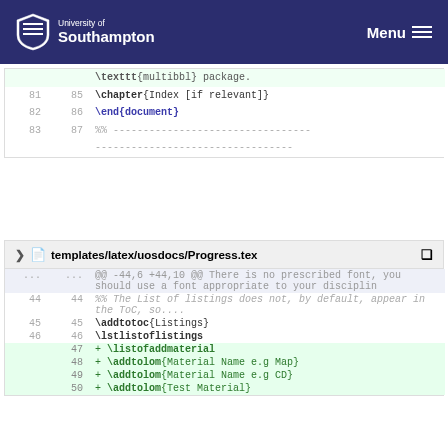University of Southampton | Menu
| old | new | code |
| --- | --- | --- |
|  |  | \texttt{multibbl} package. |
| 81 | 85 | \chapter{Index [if relevant]} |
| 82 | 86 | \end{document} |
| 83 | 87 | %% --------------------------------- |
| old | new | code |
| --- | --- | --- |
|  |  | templates/latex/uosdocs/Progress.tex |
| ... | ... | @@ -44,6 +44,10 @@ There is no prescribed font, you should use a font appropriate to your disciplin |
| 44 | 44 | %% The List of listings does not, by default, appear in the ToC, so.... |
| 45 | 45 | \addtotoc{Listings} |
| 46 | 46 | \lstlistoflistings |
|  | 47 | + \listofaddmaterial |
|  | 48 | + \addtolom{Material Name e.g Map} |
|  | 49 | + \addtolom{Material Name e.g CD} |
|  | 50 | + \addtolom{Test Material} |